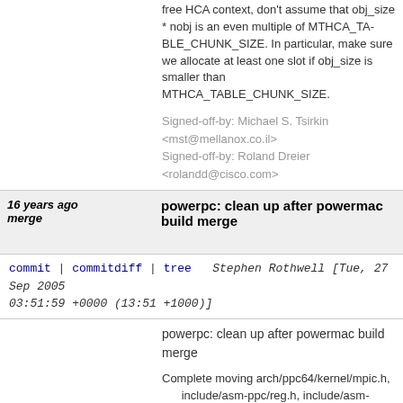free HCA context, don't assume that obj_size * nobj is an even multiple of MTHCA_TABLE_CHUNK_SIZE. In particular, make sure we allocate at least one slot if obj_size is smaller than MTHCA_TABLE_CHUNK_SIZE.

Signed-off-by: Michael S. Tsirkin <mst@mellanox.co.il>
Signed-off-by: Roland Dreier <rolandd@cisco.com>
| 16 years ago merge | powerpc: clean up after powermac build merge |
commit | commitdiff | tree   Stephen Rothwell [Tue, 27 Sep 2005 03:51:59 +0000 (13:51 +1000)]
powerpc: clean up after powermac build merge

Complete moving arch/ppc64/kernel/mpic.h, include/asm-ppc/reg.h, include/asm-ppc64/kdebug.h
    and include/asm-ppc64/kprobes.h
Add arch/powerpc/platforms/Makefile and use it from arch/powerpc/Makefile
Introduce OLDARCH temporarily so we can point back to the originating architecture

Signed-off-by: Stephen Rothwell <sfr@canb.auug.org.au>